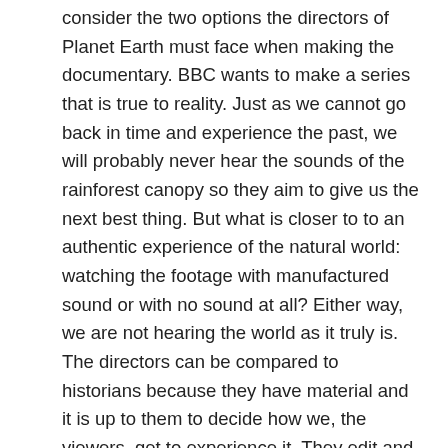consider the two options the directors of Planet Earth must face when making the documentary. BBC wants to make a series that is true to reality. Just as we cannot go back in time and experience the past, we will probably never hear the sounds of the rainforest canopy so they aim to give us the next best thing. But what is closer to to an authentic experience of the natural world: watching the footage with manufactured sound or with no sound at all? Either way, we are not hearing the world as it truly is. The directors can be compared to historians because they have material and it is up to them to decide how we, the viewers, get to experience it. They edit and select clips to form an interesting narrative that gives us an opportunity to see the world as we “have never seen it before” and, in this case, they chose to go with foley.
It is not an act of deception, but there are implications to this that should be considered. The limitations of the